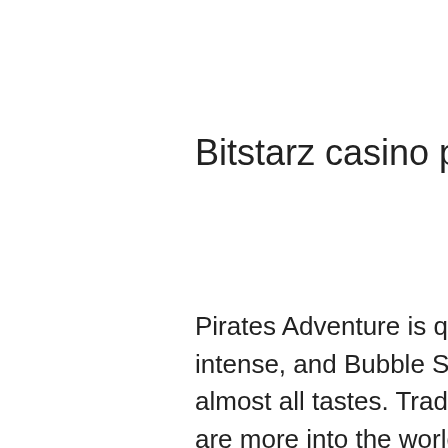Bitstarz casino promo codes
Pirates Adventure is quite fun, Going Nuts is more intense, and Bubble Shooter is a game that appeals to almost all tastes. Trading games to Earn Bitcoins. If you are more into the world of finance than you are into games as such, you will be thrilled to hear about Spark Profit, bitstarz casino promo codes. Spark Profit is a simulation made specifically for the purposes of having fun with currencies without actually having to spend money. It is the ideal place for you if you want to try out your luck with Bitcoins. The goal of every player is to find a treasure box with coins and dig them out or steal coins of other players, bitstarz casino promo